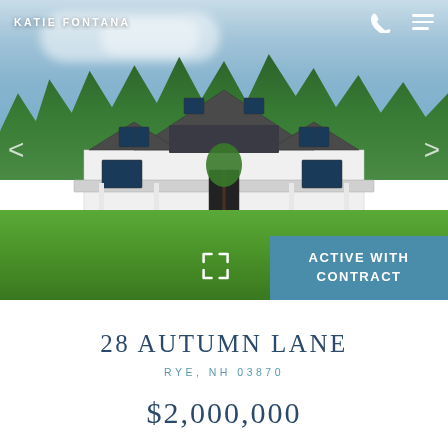KATIE FONTANA
[Figure (photo): Exterior photo of a large white farmhouse-style home with black metal roof, covered front porch, and dormer windows, set against a blue sky with trees in background and green lawn in foreground]
ACTIVE WITH CONTRACT
28 AUTUMN LANE
RYE, NH 03870
$2,000,000